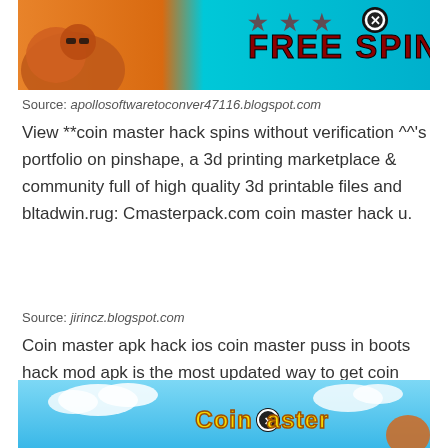[Figure (screenshot): Screenshot of a mobile game advertisement for Coin Master showing 'FREE SPIN' text on a teal background with a bird/animal character and a close button]
Source: apollosoftwaretoconver47116.blogspot.com
View **coin master hack spins without verification ^^'s portfolio on pinshape, a 3d printing marketplace & community full of high quality 3d printable files and bltadwin.rug: Cmasterpack.com coin master hack u.
Source: jirincz.blogspot.com
Coin master apk hack ios coin master puss in boots hack mod apk is the most updated way to get coin master free spins in this game. Call of duty mobile hack.
[Figure (screenshot): Screenshot of Coin Master game with logo on blue sky background]